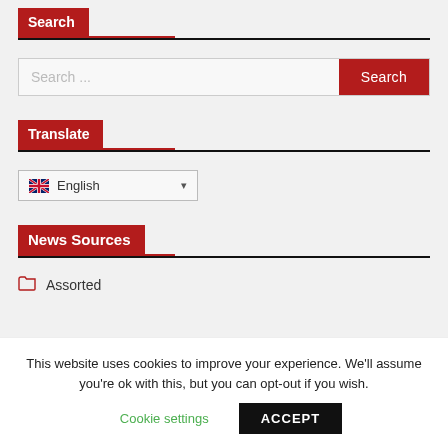Search
[Figure (screenshot): Search input box with placeholder 'Search ...' and a red 'Search' button]
Translate
[Figure (screenshot): Language dropdown showing UK flag and 'English' with a dropdown arrow]
News Sources
Assorted
This website uses cookies to improve your experience. We'll assume you're ok with this, but you can opt-out if you wish.
Cookie settings    ACCEPT